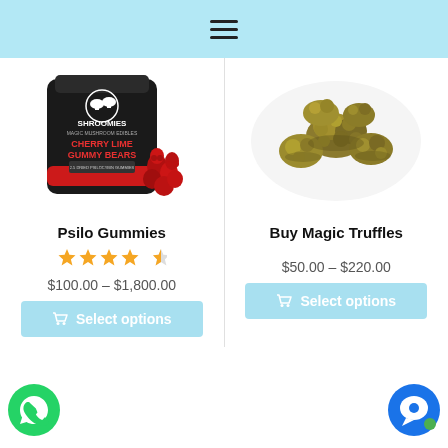Navigation menu
[Figure (photo): Shroomies Cherry Lime Gummy Bears product package with red gummy bears]
Psilo Gummies
[Figure (other): Star rating: 4.5 out of 5 stars]
$100.00 – $1,800.00
Select options
[Figure (photo): Magic truffles - golden/brown lumpy truffle pieces on white background]
Buy Magic Truffles
$50.00 – $220.00
Select options
[Figure (other): WhatsApp chat icon - green circle with phone handset]
[Figure (other): Blue chat bubble icon with green dot]